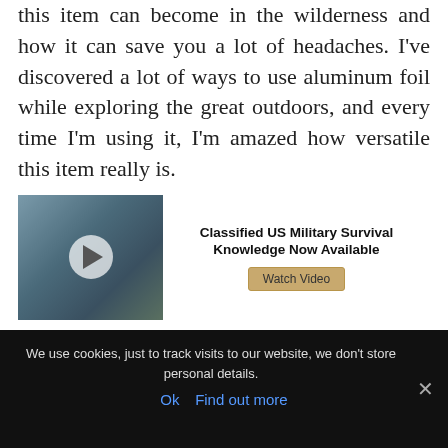this item can become in the wilderness and how it can save you a lot of headaches. I've discovered a lot of ways to use aluminum foil while exploring the great outdoors, and every time I'm using it, I'm amazed how versatile this item really is.
[Figure (other): Advertisement banner with video thumbnail on left (outdoor/military scene with play button) and text 'Classified US Military Survival Knowledge Now Available' with a 'Watch Video' button on right.]
Every household in the United States has a roll or two of heavy-duty aluminum foil hidden in their kitchen drawers. It is
We use cookies, just to track visits to our website, we don't store personal details.
Ok  Find out more